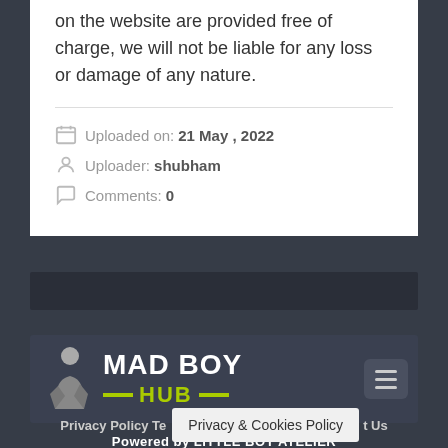on the website are provided free of charge, we will not be liable for any loss or damage of any nature.
Uploaded on:  21 May , 2022
Uploader:  shubham
Comments:  0
[Figure (logo): MAD BOY HUB logo with silhouette figure, dark background, green accent lines]
Powered by LITTLE BOY ATELIER
Privacy Policy  Terms  Contact Us
Privacy & Cookies Policy